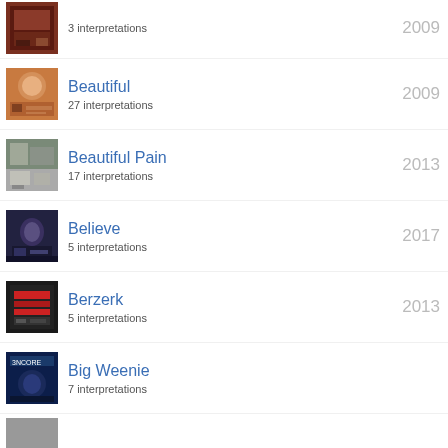3 interpretations | 2009
Beautiful | 27 interpretations | 2009
Beautiful Pain | 17 interpretations | 2013
Believe | 5 interpretations | 2017
Berzerk | 5 interpretations | 2013
Big Weenie | 7 interpretations
(partial item at bottom)